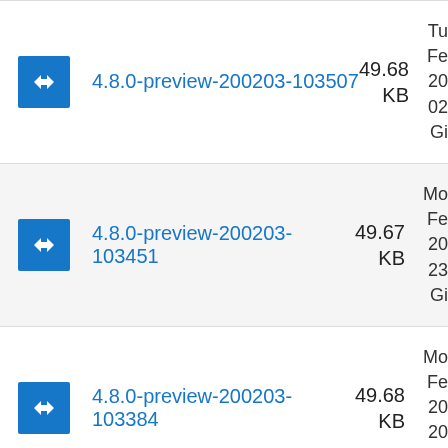4.8.0-preview-200203-103507 49.68 KB Tu Fe 20 02 Gi
4.8.0-preview-200203-103451 49.67 KB Mo Fe 20 23 Gi
4.8.0-preview-200203-103384 49.68 KB Mo Fe 20 20 Gi